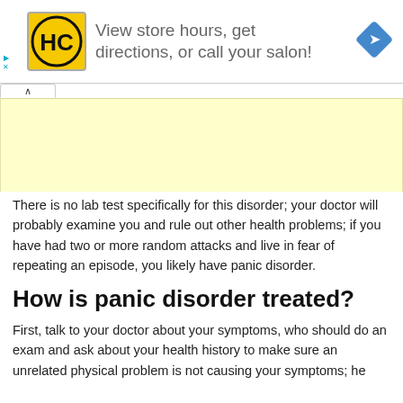[Figure (screenshot): Advertisement banner: HC logo (yellow box with HC text), text 'View store hours, get directions, or call your salon!', blue navigation diamond icon on right. Play and X buttons on left edge.]
[Figure (screenshot): Collapsed tab button with up-arrow (^) and yellow advertisement block below it.]
There is no lab test specifically for this disorder; your doctor will probably examine you and rule out other health problems; if you have had two or more random attacks and live in fear of repeating an episode, you likely have panic disorder.
How is panic disorder treated?
First, talk to your doctor about your symptoms, who should do an exam and ask about your health history to make sure an unrelated physical problem is not causing your symptoms; he